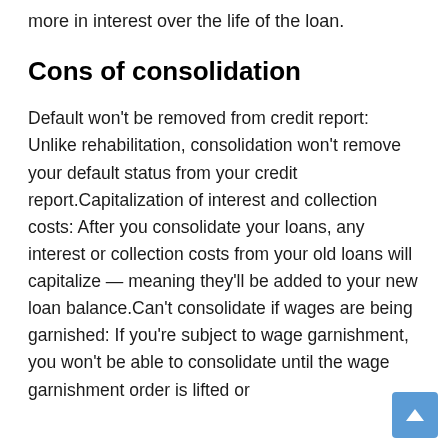more in interest over the life of the loan.
Cons of consolidation
Default won't be removed from credit report: Unlike rehabilitation, consolidation won't remove your default status from your credit report.Capitalization of interest and collection costs: After you consolidate your loans, any interest or collection costs from your old loans will capitalize — meaning they'll be added to your new loan balance.Can't consolidate if wages are being garnished: If you're subject to wage garnishment, you won't be able to consolidate until the wage garnishment order is lifted or